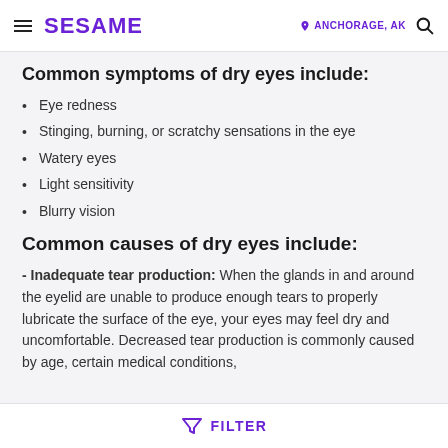SESAME   ANCHORAGE, AK
Common symptoms of dry eyes include:
Eye redness
Stinging, burning, or scratchy sensations in the eye
Watery eyes
Light sensitivity
Blurry vision
Common causes of dry eyes include:
- Inadequate tear production: When the glands in and around the eyelid are unable to produce enough tears to properly lubricate the surface of the eye, your eyes may feel dry and uncomfortable. Decreased tear production is commonly caused by age, certain medical conditions,
FILTER